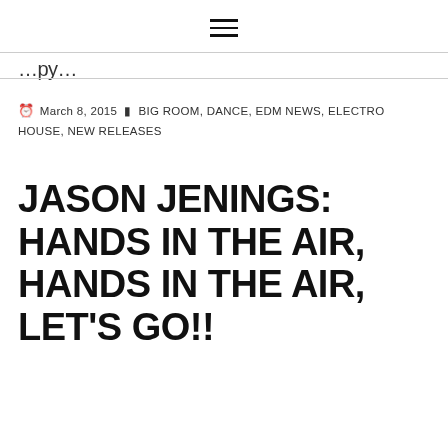≡
...py...
March 8, 2015  BIG ROOM, DANCE, EDM NEWS, ELECTRO HOUSE, NEW RELEASES
JASON JENINGS: HANDS IN THE AIR, HANDS IN THE AIR, LET'S GO!!